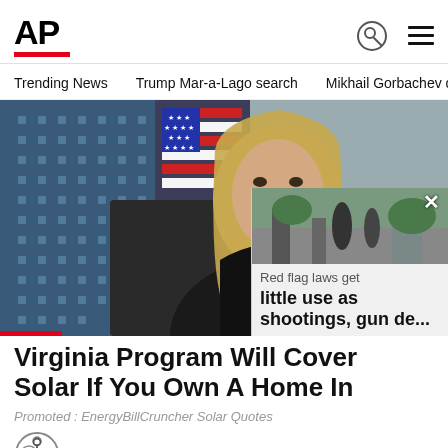[Figure (logo): AP (Associated Press) logo in bold black text with red underbar]
Trending News   Trump Mar-a-Lago search   Mikhail Gorbachev d
[Figure (photo): Woman in black top seated at a microphone with US flag and solar panel background. Popup overlay shows a street scene with police.]
Virginia Program Will Cover Solar If You Own A Home In
Promoted : EnergyBillCruncher Solar Quotes
Red flag laws get little use as shootings, gun de...